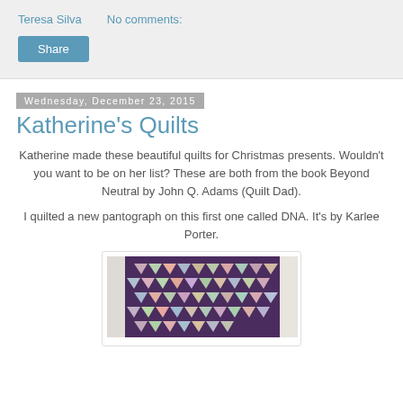Teresa Silva    No comments:
Share
Wednesday, December 23, 2015
Katherine's Quilts
Katherine made these beautiful quilts for Christmas presents.  Wouldn't you want to be on her list?  These are both from the book Beyond Neutral by John Q. Adams (Quilt Dad).
I quilted a new pantograph on this first one called DNA. It's by Karlee Porter.
[Figure (photo): A quilt with purple background featuring arrow/chevron shapes in various floral and light-colored fabrics, laid flat with white fabric borders on the sides.]